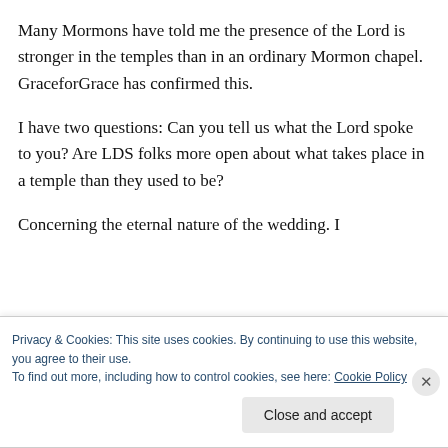Many Mormons have told me the presence of the Lord is stronger in the temples than in an ordinary Mormon chapel. GraceforGrace has confirmed this.
I have two questions: Can you tell us what the Lord spoke to you? Are LDS folks more open about what takes place in a temple than they used to be?
Concerning the eternal nature of the wedding. I
Privacy & Cookies: This site uses cookies. By continuing to use this website, you agree to their use.
To find out more, including how to control cookies, see here: Cookie Policy